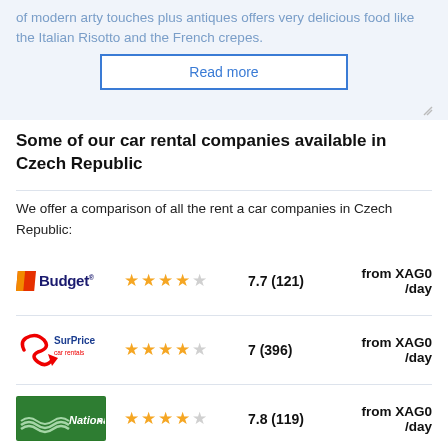of modern arty touches plus antiques offers very delicious food like the Italian Risotto and the French crepes.
Read more
Some of our car rental companies available in Czech Republic
We offer a comparison of all the rent a car companies in Czech Republic:
Budget — 7.7 (121) — from XAG0 /day
SurPrice car rentals — 7 (396) — from XAG0 /day
National — 7.8 (119) — from XAG0 /day